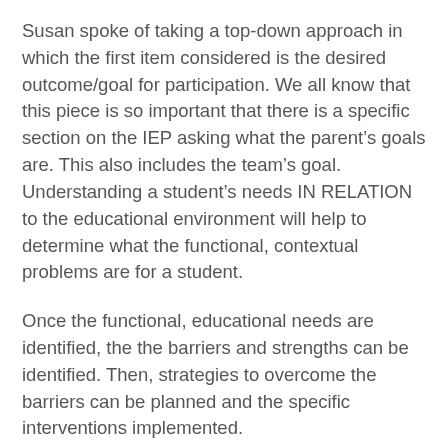Susan spoke of taking a top-down approach in which the first item considered is the desired outcome/goal for participation. We all know that this piece is so important that there is a specific section on the IEP asking what the parent’s goals are. This also includes the team’s goal. Understanding a student’s needs IN RELATION to the educational environment will help to determine what the functional, contextual problems are for a student.
Once the functional, educational needs are identified, the the barriers and strengths can be identified. Then, strategies to overcome the barriers can be planned and the specific interventions implemented.
I’ve been writing IEP’s for years. I’ve written